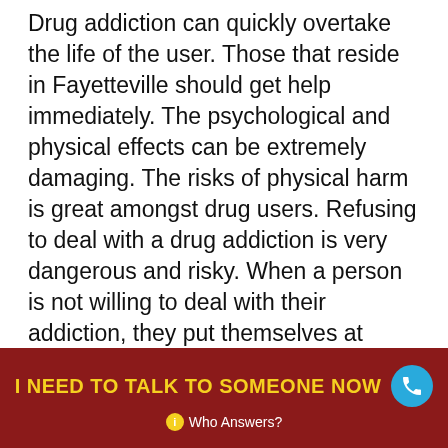Drug addiction can quickly overtake the life of the user. Those that reside in Fayetteville should get help immediately. The psychological and physical effects can be extremely damaging. The risks of physical harm is great amongst drug users. Refusing to deal with a drug addiction is very dangerous and risky. When a person is not willing to deal with their addiction, they put themselves at great risk. DrugStrategies.org can provide you with the help you need. Contact our offices at the above phone number if you live in the Fayetteville, Arkansas area.
I NEED TO TALK TO SOMEONE NOW
Who Answers?